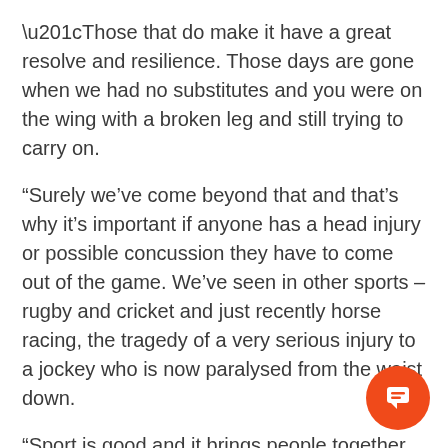“Those that do make it have a great resolve and resilience. Those days are gone when we had no substitutes and you were on the wing with a broken leg and still trying to carry on.
“Surely we’ve come beyond that and that’s why it’s important if anyone has a head injury or possible concussion they have to come out of the game. We’ve seen in other sports – rugby and cricket and just recently horse racing, the tragedy of a very serious injury to a jockey who is now paralysed from the waist down.
“Sport is good and it brings people together but there is another side of it which can be quite dangerous and that’s why the people running the game have to be careful with health and safety, and psychological understandin